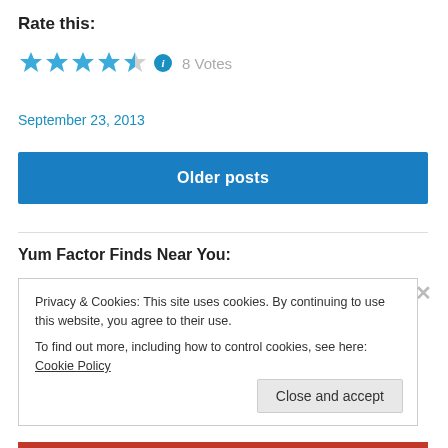Rate this:
[Figure (other): 4.5 out of 5 blue stars rating widget with info icon, showing 8 Votes]
September 23, 2013
Older posts
Yum Factor Finds Near You:
Privacy & Cookies: This site uses cookies. By continuing to use this website, you agree to their use.
To find out more, including how to control cookies, see here: Cookie Policy
Close and accept